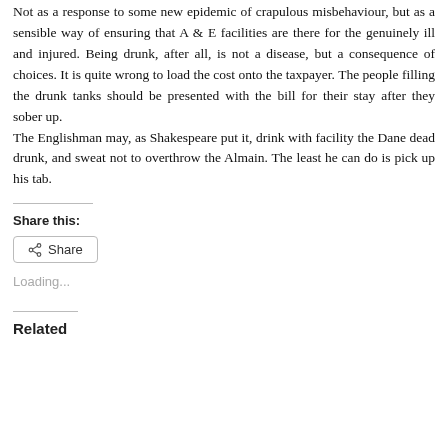Not as a response to some new epidemic of crapulous misbehaviour, but as a sensible way of ensuring that A & E facilities are there for the genuinely ill and injured. Being drunk, after all, is not a disease, but a consequence of choices. It is quite wrong to load the cost onto the taxpayer. The people filling the drunk tanks should be presented with the bill for their stay after they sober up.
The Englishman may, as Shakespeare put it, drink with facility the Dane dead drunk, and sweat not to overthrow the Almain. The least he can do is pick up his tab.
Share this:
Share
Loading...
Related